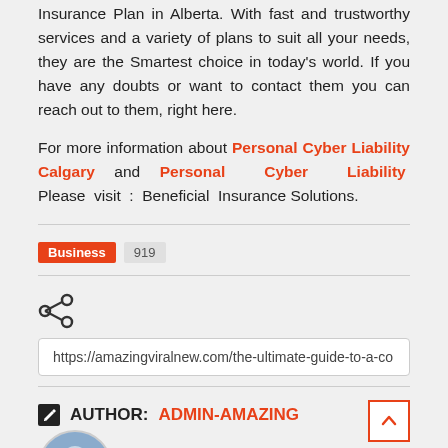Insurance Plan in Alberta. With fast and trustworthy services and a variety of plans to suit all your needs, they are the Smartest choice in today's world. If you have any doubts or want to contact them you can reach out to them, right here.
For more information about Personal Cyber Liability Calgary and Personal Cyber Liability Please visit : Beneficial Insurance Solutions.
Business 919
https://amazingviralnew.com/the-ultimate-guide-to-a-co
AUTHOR: ADMIN-AMAZING